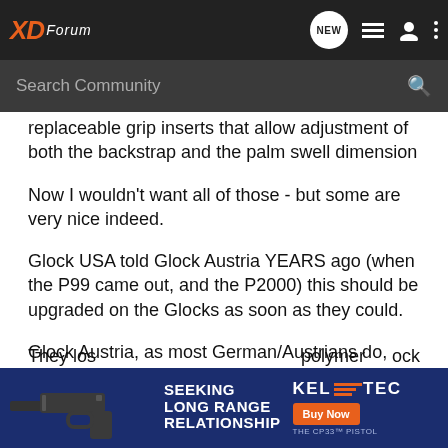XD Forum — Search Community
replaceable grip inserts that allow adjustment of both the backstrap and the palm swell dimension
Now I wouldn't want all of those - but some are very nice indeed.
Glock USA told Glock Austria YEARS ago (when the P99 came out, and the P2000) this should be upgraded on the Glocks as soon as they could.
Glock Austria, as most German/Austrians do, insisted they knew better, i.e you'll take what we make as it is perfect.
They los... polymer... ock
[Figure (screenshot): Advertisement banner for Kel-Tec CP33 pistol with text SEEKING LONG RANGE RELATIONSHIP and a Buy Now button]